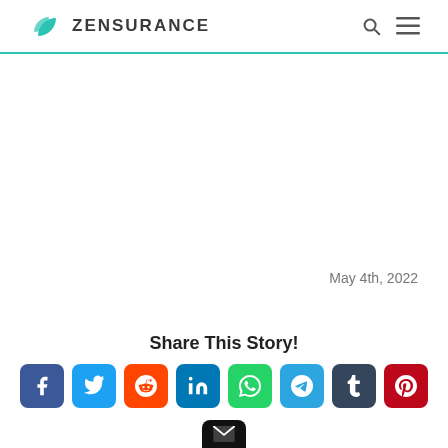ZENSURANCE
May 4th, 2022
Share This Story!
[Figure (infographic): Social share buttons: Facebook, Twitter, Reddit, LinkedIn, WhatsApp, Telegram, Tumblr, Pinterest, Email]